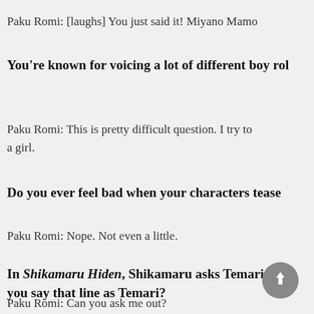Paku Romi: [laughs] You just said it! Miyano Mamo...
You're known for voicing a lot of different boy rol...
Paku Romi: This is pretty difficult question. I try to... a girl.
Do you ever feel bad when your characters tease...
Paku Romi: Nope. Not even a little.
In Shikamaru Hiden, Shikamaru asks Temari out... you say that line as Temari?
Paku Romi: Can you ask me out?